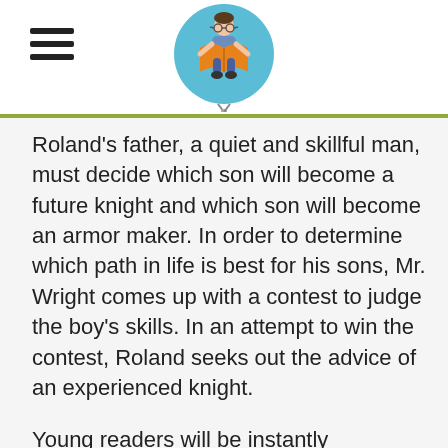Roland's father, a quiet and skillful man, must decide which son will become a future knight and which son will become an armor maker. In order to determine which path in life is best for his sons, Mr. Wright comes up with a contest to judge the boy's skills. In an attempt to win the contest, Roland seeks out the advice of an experienced knight.
Young readers will be instantly captivated by a view of life in the Middle Ages through Roland's eyes. Not only is Roland humorous, but he also is just like a typical boy—he spends much of his time day-dreaming and he doesn't have much use for girls. Adding a mouse as a pet, a gallant knight, and a wise and insightful father to the mix makes Roland Wright Future Knight an entertaining story. A gobbled up sentence that is is in the bottom.